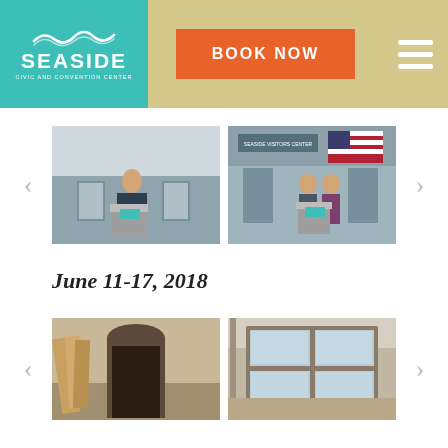Seaside Civic and Convention Center — BOOK NOW
[Figure (photo): Man standing at Seaside podium with display boards in convention center lobby]
[Figure (photo): Two men standing at Seaside podium in Seaside Visitors Center with display boards and US flag]
June 11-17, 2018
[Figure (photo): Construction interior showing doorway with plywood and building materials]
[Figure (photo): Construction interior showing window frames and scaffolding]